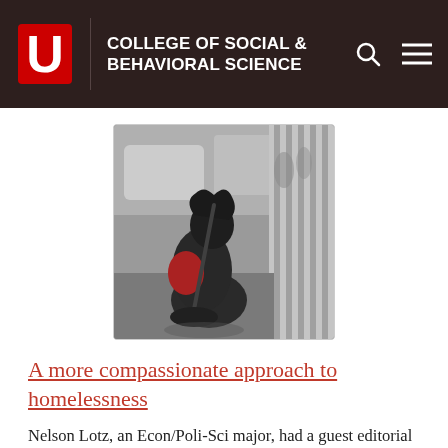COLLEGE OF SOCIAL & BEHAVIORAL SCIENCE
[Figure (photo): A person sitting on the ground against a wall near a street, with a red backpack, appearing to be homeless. Cars visible in background.]
A more compassionate approach to homelessness
Nelson Lotz, an Econ/Poli-Sci major, had a guest editorial in the Salt Lake Tribune on homelessness and the homeless shelter transition.